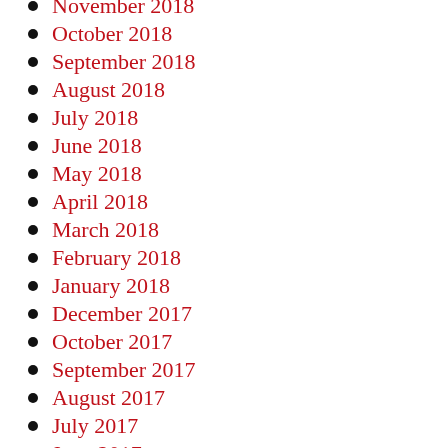November 2018
October 2018
September 2018
August 2018
July 2018
June 2018
May 2018
April 2018
March 2018
February 2018
January 2018
December 2017
October 2017
September 2017
August 2017
July 2017
June 2017